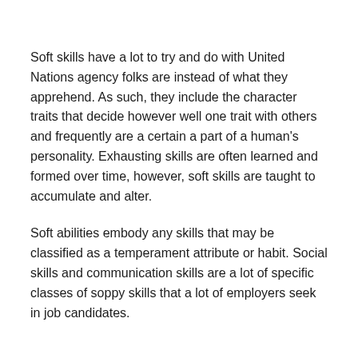Soft skills have a lot to try and do with United Nations agency folks are instead of what they apprehend. As such, they include the character traits that decide however well one trait with others and frequently are a certain a part of a human's personality. Exhausting skills are often learned and formed over time, however, soft skills are taught to accumulate and alter.
Soft abilities embody any skills that may be classified as a temperament attribute or habit. Social skills and communication skills are a lot of specific classes of soppy skills that a lot of employers seek in job candidates.